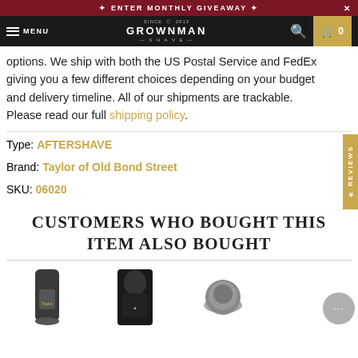✦ ENTER MONTHLY GIVEAWAY ✦
[Figure (screenshot): Grownman Shave website navigation bar with hamburger menu, MENU text, Grownman Shave logo, search icon, and cart button showing 0 items]
options. We ship with both the US Postal Service and FedEx giving you a few different choices depending on your budget and delivery timeline. All of our shipments are trackable. Please read our full shipping policy.
Type: AFTERSHAVE
Brand: Taylor of Old Bond Street
SKU: 06020
CUSTOMERS WHO BOUGHT THIS ITEM ALSO BOUGHT
[Figure (photo): Row of product thumbnail images showing shaving products including Taylor branded tubes and dark packaged items]